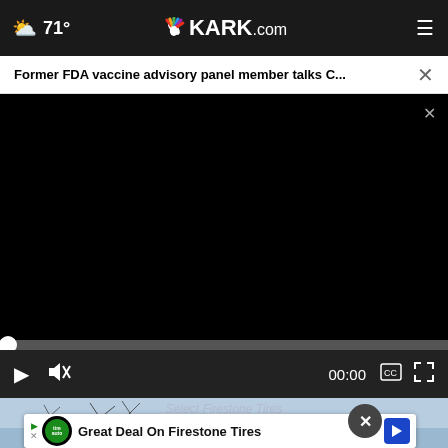71° KARK.com
Former FDA vaccine advisory panel member talks C...  ×
[Figure (screenshot): Black video player area with no content loaded]
00:00
[Figure (screenshot): Firestone Tires advertisement banner: Great Deal On Firestone Tires]